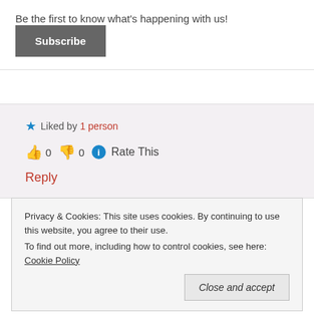Be the first to know what's happening with us!
Subscribe
★ Liked by 1 person
👍 0 👎 0 ℹ Rate This
Reply
Privacy & Cookies: This site uses cookies. By continuing to use this website, you agree to their use.
To find out more, including how to control cookies, see here: Cookie Policy
Close and accept